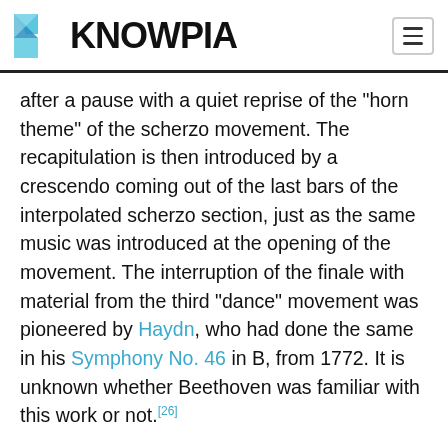KNOWPIA
after a pause with a quiet reprise of the "horn theme" of the scherzo movement. The recapitulation is then introduced by a crescendo coming out of the last bars of the interpolated scherzo section, just as the same music was introduced at the opening of the movement. The interruption of the finale with material from the third "dance" movement was pioneered by Haydn, who had done the same in his Symphony No. 46 in B, from 1772. It is unknown whether Beethoven was familiar with this work or not.[26]
The Fifth Symphony finale includes a very long coda, in which the main themes of the movement are repeated in temporally compressed form. Towards the end the tempo is increased to presto. The symphony ends